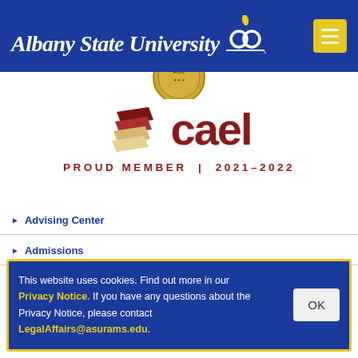Albany State University
[Figure (logo): CAEL proud member 2021-2022 logo with stacked paper/books icon and red text]
PROUD MEMBER | 2021-2022
Advising Center
Admissions
This website uses cookies. Find out more in our Privacy Notice. If you have any questions about the Privacy Notice, please contact LegalAffairs@asurams.edu.